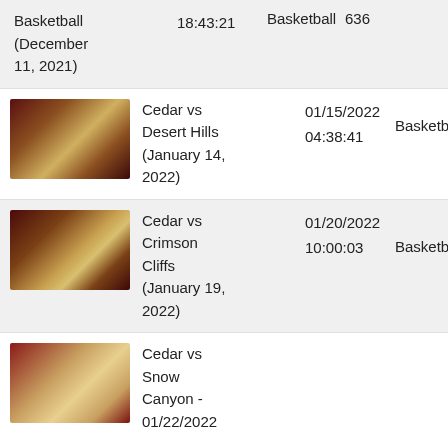| Thumbnail | Title | Date | Sport | Views |
| --- | --- | --- | --- | --- |
| [image] | Basketball (December 11, 2021) | 18:43:21 | Basketball | 636 |
| [image] | Cedar vs Desert Hills (January 14, 2022) | 01/15/2022 04:38:41 | Basketball | 58 |
| [image] | Cedar vs Crimson Cliffs (January 19, 2022) | 01/20/2022 10:00:03 | Basketball | 903 |
| [image] | Cedar vs Snow Canyon - 01/22/2022 |  |  |  |